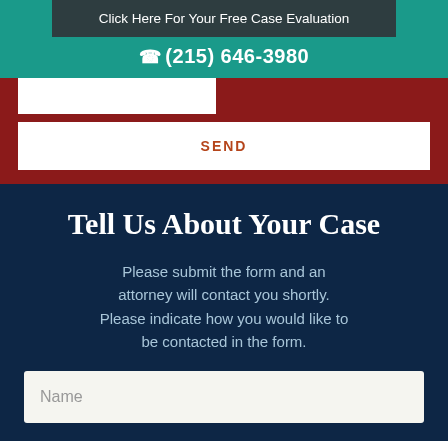Click Here For Your Free Case Evaluation
(215) 646-3980
SEND
Tell Us About Your Case
Please submit the form and an attorney will contact you shortly. Please indicate how you would like to be contacted in the form.
Name